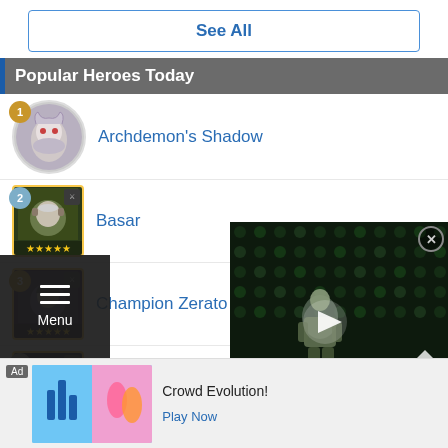See All
Popular Heroes Today
1 Archdemon's Shadow
2 Basar
3 Champion Zerato
4 Hurado
[Figure (screenshot): Video player overlay showing a 3D character in a dark green-lit environment with play button and Top/Menu controls]
Ad  Crowd Evolution!  Play Now